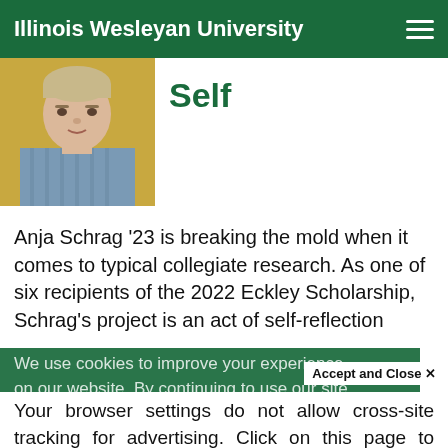Illinois Wesleyan University
Self
[Figure (photo): Portrait photo of Anja Schrag, a young woman with light hair wearing a striped shirt, against a yellow background]
Anja Schrag '23 is breaking the mold when it comes to typical collegiate research. As one of six recipients of the 2022 Eckley Scholarship, Schrag's project is an act of self-reflection
We use cookies to improve your experience on our website. By continuing to use our site...
Accept and Close ×
Your browser settings do not allow cross-site tracking for advertising. Click on this page to allow AdRoll to use cross-site tracking to tailor ads to you. Learn more or opt out of this AdRoll tracking by clicking here. This message only appears once.
the value of tradition were